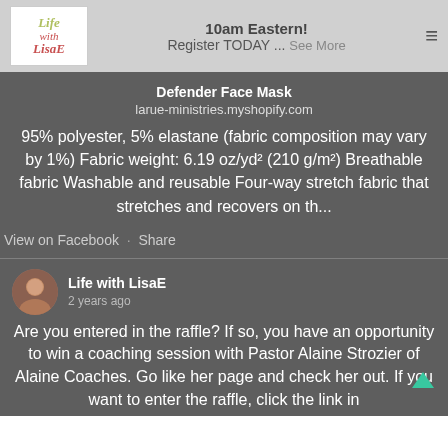10am Eastern! Register TODAY ... See More
Defender Face Mask
larue-ministries.myshopify.com
95% polyester, 5% elastane (fabric composition may vary by 1%) Fabric weight: 6.19 oz/yd² (210 g/m²) Breathable fabric Washable and reusable Four-way stretch fabric that stretches and recovers on th...
View on Facebook · Share
Life with LisaE
2 years ago
Are you entered in the raffle? If so, you have an opportunity to win a coaching session with Pastor Alaine Strozier of Alaine Coaches. Go like her page and check her out. If you want to enter the raffle, click the link in